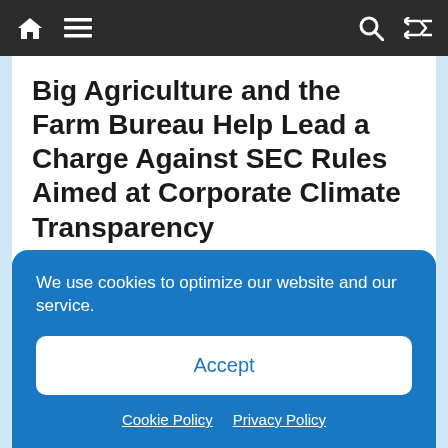Navigation bar with home, menu, search, and shuffle icons
Big Agriculture and the Farm Bureau Help Lead a Charge Against SEC Rules Aimed at Corporate Climate Transparency
August 22, 2022  ENR
As drought continued to grip huge stretches of American farmland last week, decimating some crops and forcing farmers to plow
We use cookies to optimize our website and our service.
Accept
Cookie Policy  Privacy Policy